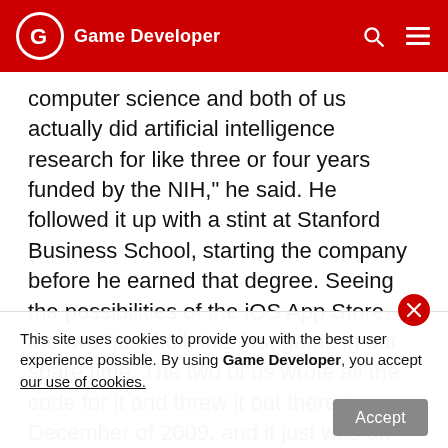Game Developer
computer science and both of us actually did artificial intelligence research for like three or four years funded by the NIH," he said. He followed it up with a stint at Stanford Business School, starting the company before he earned that degree. Seeing the possibilities of the iOS App Store, the two "just built this first game in our spare time. The two of us wrote all the code for it and threw it out there in December of 2009, and it just was an instant hit and shot up to the top of the charts." The team made its first successes "during the wild west of the App Store" era. Fostered by the "two-hit rule" that, looking back, the team gave themselves as a result of their initial plays, the two began to see the App Store as "one of those once in a lifetime opportunities, where there's this platform emerging with a huge amount of momentum behind it, as well
This site uses cookies to provide you with the best user experience possible. By using Game Developer, you accept our use of cookies.